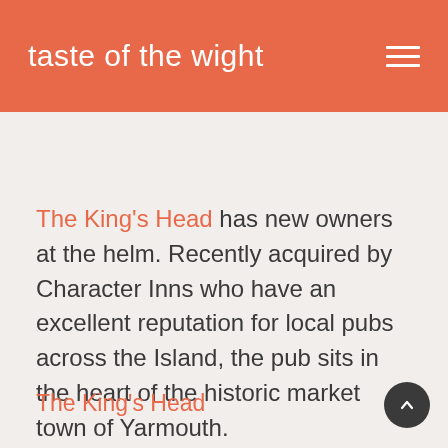taste of the wight
The King's Head has new owners at the helm. Recently acquired by Character Inns who have an excellent reputation for local pubs across the Island, the pub sits in the heart of the historic market town of Yarmouth.
The King's Head